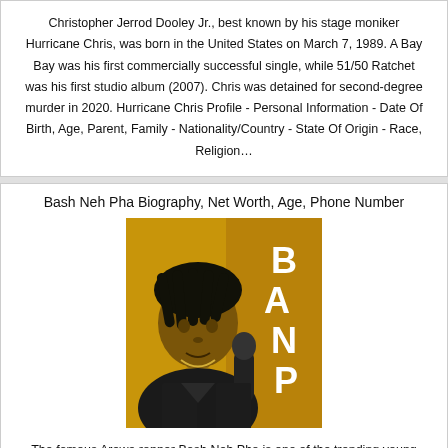Christopher Jerrod Dooley Jr., best known by his stage moniker Hurricane Chris, was born in the United States on March 7, 1989. A Bay Bay was his first commercially successful single, while 51/50 Ratchet was his first studio album (2007). Chris was detained for second-degree murder in 2020. Hurricane Chris Profile - Personal Information - Date Of Birth, Age, Parent, Family - Nationality/Country - State Of Origin - Race, Religion…
Bash Neh Pha Biography, Net Worth, Age, Phone Number
[Figure (photo): Photo of Bash Neh Pha, a young man with dreadlocks in front of an orange background with large white letters spelling 'BAND P' or similar, with a microphone visible]
The famous Arewa rapper Bash Neh Pha is one of the trending young Arewa musician. He was born on (1998) in Jos, Plateau state, North Central Nigeria. Bash Neh Pah usually appear on Highlights of Arewa musicians on Arewa 24 TV Channel along with other young Arewa Artiste Teeswagg, Namenj, Kheengz, Jigsaw YNS. Bash Neh Pha